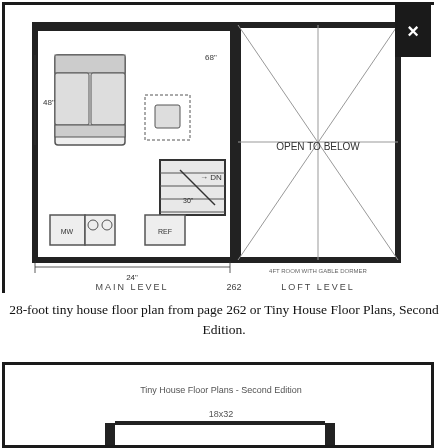[Figure (engineering-diagram): 28-foot tiny house floor plan showing main level and loft level. Main level shows living area with sofa, kitchen area with refrigerator (REF), microwave (MW), staircase with DN arrow indicating downward direction, and dimension 24 inches. Loft level shows open-to-below area with gable dormer crosshatch pattern. Labels: MAIN LEVEL 262, LOFT LEVEL. Dimensions noted: 48, 68. Small note: 4-ft-room with gable dormer.]
28-foot tiny house floor plan from page 262 or Tiny House Floor Plans, Second Edition.
[Figure (engineering-diagram): Second floor plan partially visible at bottom of page. Shows 'Tiny House Floor Plans - Second Edition' text and '18x32' dimension label, with partial floor plan diagram.]